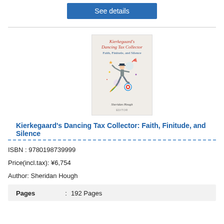[Figure (other): Blue 'See details' button at top]
[Figure (illustration): Book cover of 'Kierkegaard's Dancing Tax Collector: Faith, Finitude, and Silence' by Sheridan Hough, Oxford University Press. Cover shows illustrated dancing figure with colorful elements on a light background.]
Kierkegaard's Dancing Tax Collector: Faith, Finitude, and Silence
ISBN : 9780198739999
Price(incl.tax): ¥6,754
Author: Sheridan Hough
| Pages | : | 192 Pages |
| --- | --- | --- |